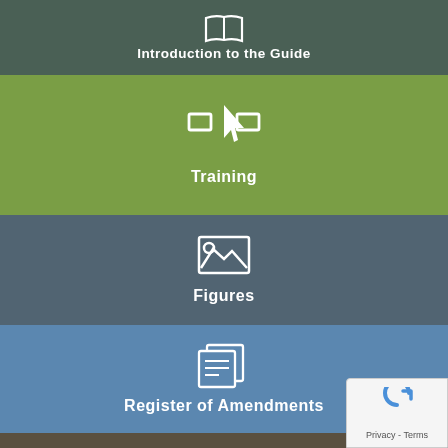[Figure (infographic): Navigation band: Introduction to the Guide with book/document icon, dark slate-green background]
Introduction to the Guide
[Figure (infographic): Navigation band: Training with presentation/monitor icon, olive-green background]
Training
[Figure (infographic): Navigation band: Figures with image/photo icon, dark slate-blue background]
Figures
[Figure (infographic): Navigation band: Register of Amendments with documents icon, medium blue background]
Register of Amendments
[Figure (infographic): Navigation band: Departures with document-edit icon, dark brown background]
Departures